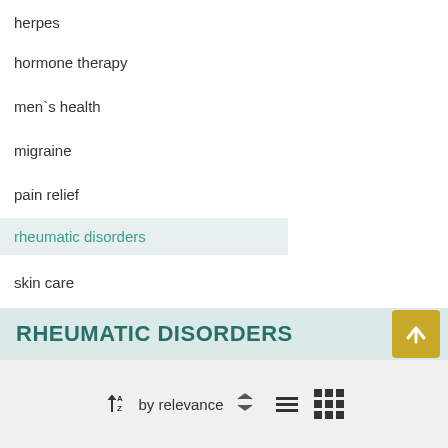herpes
hormone therapy
men`s health
migraine
pain relief
rheumatic disorders
skin care
sleep disorder
stress treatment
weight reduction
RHEUMATIC DISORDERS
by relevance